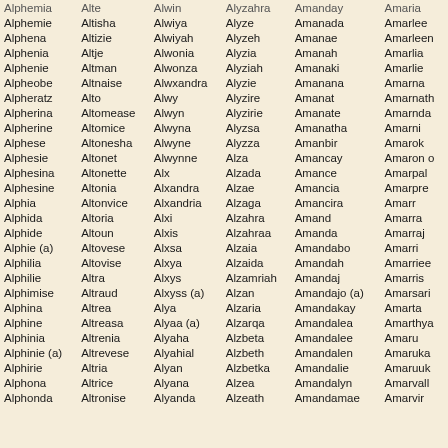| Alphemia | Alte | Alwin | Alyzahra | Amanday | Amaria |
| Alphemie | Altisha | Alwiya | Alyze | Amanada | Amarlee |
| Alphena | Altizie | Alwiyah | Alyzeh | Amanae | Amarleen |
| Alphenia | Altje | Alwonia | Alyzia | Amanah | Amarlia |
| Alphenie | Altman | Alwonza | Alyziah | Amanaki | Amarlie |
| Alpheobe | Altnaise | Alwxandra | Alyzie | Amanana | Amarna |
| Alpheratz | Alto | Alwy | Alyzire | Amanat | Amarnath |
| Alpherina | Altomease | Alwyn | Alyzirie | Amanate | Amarnda |
| Alpherine | Altomice | Alwyna | Alyzsa | Amanatha | Amarni |
| Alphese | Altonesha | Alwyne | Alyzza | Amanbir | Amarok |
| Alphesie | Altonet | Alwynne | Alza | Amancay | Amaron o |
| Alphesina | Altonette | Alx | Alzada | Amance | Amarpal |
| Alphesine | Altonia | Alxandra | Alzae | Amancia | Amarpre |
| Alphia | Altonvice | Alxandria | Alzaga | Amancira | Amarr |
| Alphida | Altoria | Alxi | Alzahra | Amand | Amarra |
| Alphide | Altoun | Alxis | Alzahraa | Amanda | Amarraj |
| Alphie (a) | Altovese | Alxsa | Alzaia | Amandabo | Amarri |
| Alphilia | Altovise | Alxya | Alzaida | Amandah | Amarriee |
| Alphilie | Altra | Alxys | Alzamriah | Amandaj | Amarris |
| Alphimise | Altraud | Alxyss (a) | Alzan | Amandajo (a) | Amarsari |
| Alphina | Altrea | Alya | Alzaria | Amandakay | Amarta |
| Alphine | Altreasa | Alyaa (a) | Alzarqa | Amandalea | Amarthya |
| Alphinia | Altrenia | Alyaha | Alzbeta | Amandalee | Amaru |
| Alphinie (a) | Altrevese | Alyahial | Alzbeth | Amandalen | Amaruka |
| Alphirie | Altria | Alyan | Alzbetka | Amandalie | Amaruuk |
| Alphona | Altrice | Alyana | Alzea | Amandalyn | Amarvall |
| Alphonda | Altronise | Alyanda | Alzeath | Amandamae | Amarvir |